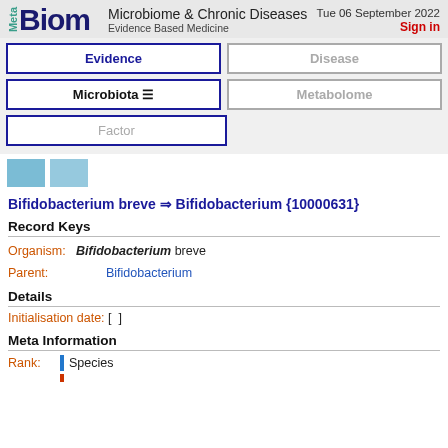MetaBiom — Microbiome & Chronic Diseases — Evidence Based Medicine — Tue 06 September 2022 — Sign in
Evidence | Disease | Microbiota ☰ | Metabolome | Factor
[Figure (other): Two light blue square icon buttons]
Bifidobacterium breve ⇒ Bifidobacterium {10000631}
Record Keys
Organism: Bifidobacterium breve
Parent: Bifidobacterium
Details
Initialisation date: [  ]
Meta Information
Rank: Species